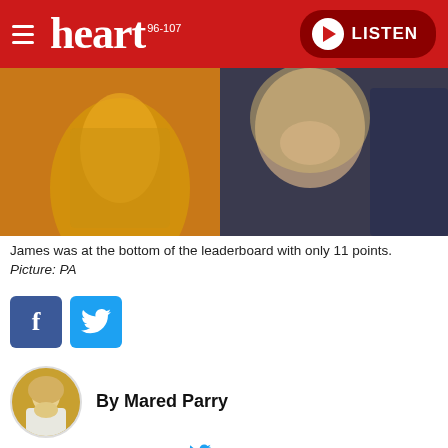heart 96-107 | LISTEN
[Figure (photo): Photo of two people, a woman with long blonde hair smiling and a man in a dark t-shirt, with a person in a gold sequined outfit in the background.]
James was at the bottom of the leaderboard with only 11 points. Picture: PA
[Figure (infographic): Facebook and Twitter social share buttons]
By Mared Parry
@maredparry
The rower didn't impress the judges